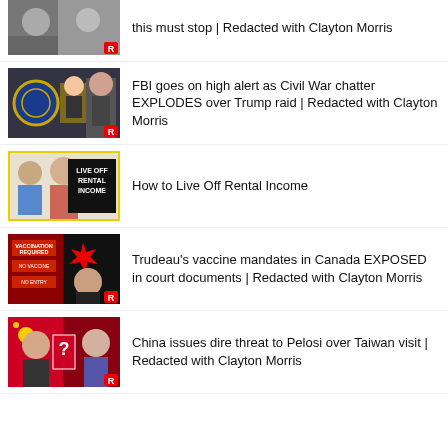[Figure (screenshot): Thumbnail showing political figures, partially cropped at top]
this must stop | Redacted with Clayton Morris
[Figure (screenshot): Thumbnail with FBI logo and Trump-related imagery]
FBI goes on high alert as Civil War chatter EXPLODES over Trump raid | Redacted with Clayton Morris
[Figure (screenshot): Thumbnail with 'Live Off Rental Income' sign]
How to Live Off Rental Income
[Figure (screenshot): Thumbnail with Trudeau and Canada imagery]
Trudeau's vaccine mandates in Canada EXPOSED in court documents | Redacted with Clayton Morris
[Figure (screenshot): Thumbnail with Xi Jinping and Pelosi imagery]
China issues dire threat to Pelosi over Taiwan visit | Redacted with Clayton Morris